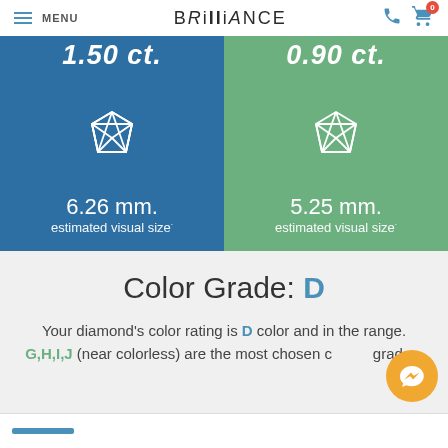MENU | BRILLIANCE
[Figure (infographic): Two colored panels side by side. Left panel (blue): 1.50 ct. diamond icon, 6.26 mm. estimated visual size. Right panel (green): 0.90 ct. diamond icon, 5.25 mm. estimated visual size.]
Color Grade: D
Your diamond's color rating is D color and in the range. G,H,I,J (near colorless) are the most chosen color grades.